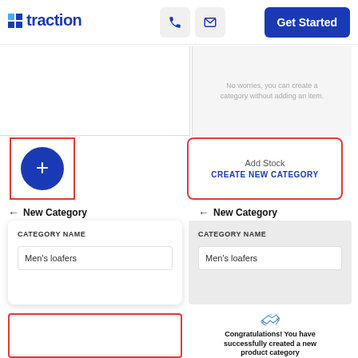[Figure (screenshot): Traction app UI screenshot showing logo and navigation header with phone icon, mail icon, and Get Started button]
[Figure (screenshot): Left UI panel showing a red-bordered plus button (dark blue circle with +) and right panel showing red-bordered Add Stock / CREATE NEW CATEGORY card]
[Figure (screenshot): Left panel: New Category form with CATEGORY NAME label and 'Men's loafers' input. Right panel: New Category form with CATEGORY NAME label and 'Men's loafers' input]
[Figure (screenshot): Right panel bottom: handshake icon, bold text 'Congratulations! You have successfully created a new product category', subtext 'There are 0 products added in the new Category', blue GO TO ALL CATEGORIES button. Left bottom: partially visible red-bordered element.]